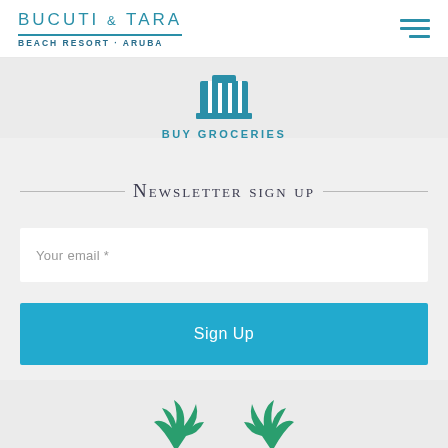BUCUTI & TARA BEACH RESORT · ARUBA
[Figure (illustration): Shopping cart icon in teal/blue color]
BUY GROCERIES
Newsletter sign up
Your email *
Sign Up
[Figure (logo): Travelers' Choice award logo partially visible at bottom]